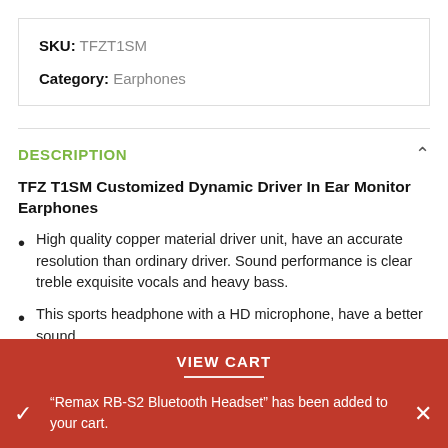SKU: TFZT1SM
Category: Earphones
DESCRIPTION
TFZ T1SM Customized Dynamic Driver In Ear Monitor Earphones
High quality copper material driver unit, have an accurate resolution than ordinary driver. Sound performance is clear treble exquisite vocals and heavy bass.
This sports headphone with a HD microphone, have a better sound
VIEW CART
"Remax RB-S2 Bluetooth Headset" has been added to your cart.